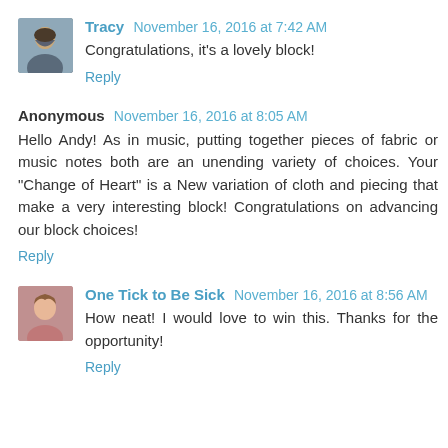Tracy November 16, 2016 at 7:42 AM
Congratulations, it's a lovely block!
Reply
Anonymous November 16, 2016 at 8:05 AM
Hello Andy! As in music, putting together pieces of fabric or music notes both are an unending variety of choices. Your "Change of Heart" is a New variation of cloth and piecing that make a very interesting block! Congratulations on advancing our block choices!
Reply
One Tick to Be Sick November 16, 2016 at 8:56 AM
How neat! I would love to win this. Thanks for the opportunity!
Reply